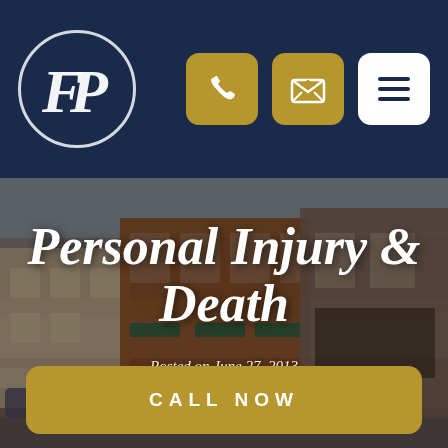[Figure (logo): FP law firm logo — stylized italic FP letters inside a circle, white on dark navy background]
[Figure (infographic): Navigation header bar with phone icon button (gold), email/envelope icon button (gold), and hamburger menu button (white) on dark navy background]
[Figure (photo): Hero background photo of a small-town main street with brick buildings, storefronts with green awnings, parked cars, and a gray sky]
Personal Injury & Death
Posted on June 27, 2013
CALL NOW